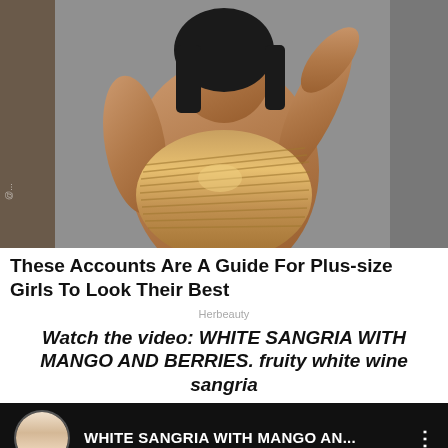[Figure (photo): A plus-size woman wearing a ribbed gold/bronze strapless bodysuit, posing in what appears to be a fitting room with grey curtains in the background.]
These Accounts Are A Guide For Plus-size Girls To Look Their Best
Herbeauty
Watch the video: WHITE SANGRIA WITH MANGO AND BERRIES. fruity white wine sangria
[Figure (screenshot): Video thumbnail showing a woman with blonde hair in a white top (avatar/channel icon) next to the video title text 'WHITE SANGRIA WITH MANGO AN...' with a three-dot menu icon, all on a dark/black background.]